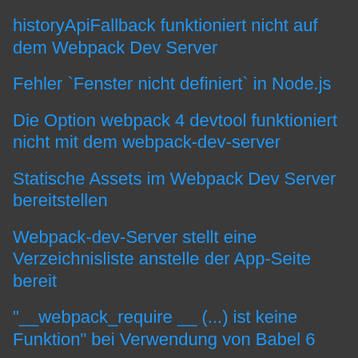historyApiFallback funktioniert nicht auf dem Webpack Dev Server
Fehler `Fenster nicht definiert` in Node.js
Die Option webpack 4 devtool funktioniert nicht mit dem webpack-dev-server
Statische Assets im Webpack Dev Server bereitstellen
Webpack-dev-Server stellt eine Verzeichnisliste anstelle der App-Seite bereit
"__webpack_require __ (...) ist keine Funktion" bei Verwendung von Babel 6
Webpack: Ausgabe stummschalten
req.handle.writev ist keine Funktion
Mehrere HTML-Dateien mit Webpack